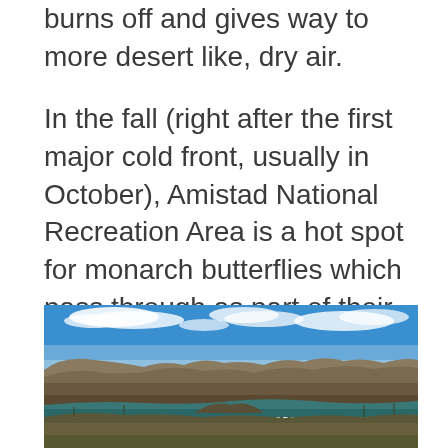burns off and gives way to more desert like, dry air.
In the fall (right after the first major cold front, usually in October), Amistad National Recreation Area is a hot spot for monarch butterflies which pass through as part of their 3,000 miles migration that begins in southern Canada and runs through central Mexico.
[Figure (photo): Panoramic photo of a canyon with rocky cliffs, a green-blue river or reservoir in the middle ground, sparse desert vegetation on the canyon walls, and a partly cloudy blue sky above.]